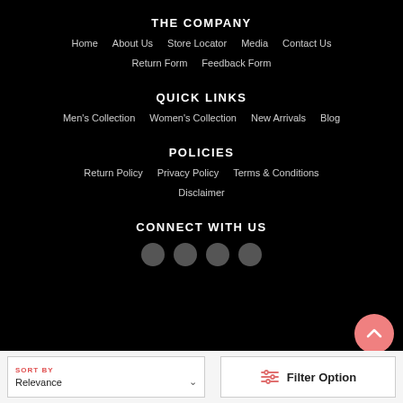THE COMPANY
Home   About Us   Store Locator   Media   Contact Us
Return Form   Feedback Form
QUICK LINKS
Men's Collection   Women's Collection   New Arrivals   Blog
POLICIES
Return Policy   Privacy Policy   Terms & Conditions
Disclaimer
CONNECT WITH US
SORT BY
Relevance
Filter Option